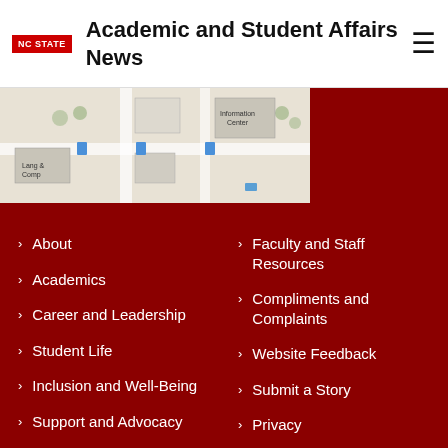NC STATE — Academic and Student Affairs News
[Figure (map): Campus map showing buildings including Lang & Comp and Information Center]
About
Academics
Career and Leadership
Student Life
Inclusion and Well-Being
Support and Advocacy
Faculty and Staff Resources
Compliments and Complaints
Website Feedback
Submit a Story
Privacy